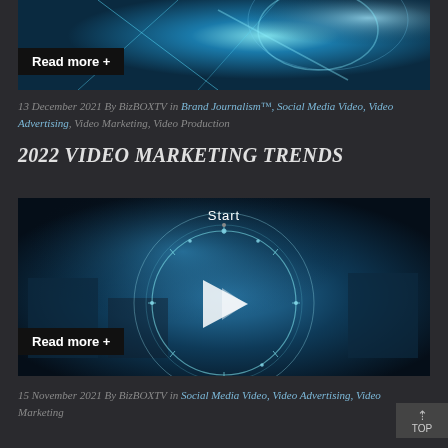[Figure (photo): Blue glowing neon lines on dark background, person touching digital interface]
Read more +
13 December 2021 By BizBOXTV in Brand Journalism™, Social Media Video, Video Advertising, Video Marketing, Video Production
2022 VIDEO MARKETING TRENDS
[Figure (screenshot): Video thumbnail showing person touching digital holographic interface with play button and Start label]
Read more +
15 November 2021 By BizBOXTV in Social Media Video, Video Advertising, Video Marketing